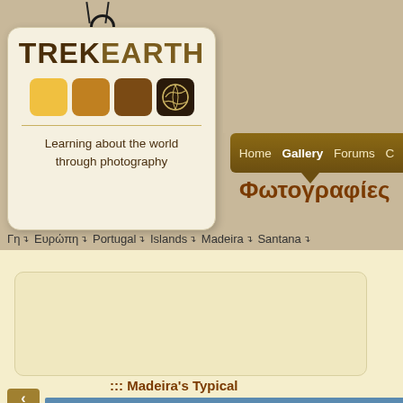[Figure (logo): TrekEarth logo tag with colored squares and world map icon, tagline 'Learning about the world through photography']
Home   Gallery   Forums   C…
Φωτογραφίες
Γη → Ευρώπη → Portugal → Islands → Madeira → Santana →
::: Madeira's Typical